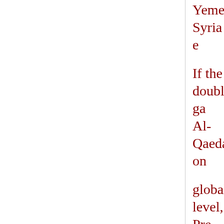Yemen, Syria e
If the double ga Al-Qaeda on
global level, Pre part of the
anti-Muslim ca Zionists, Israeli
lobbies and the Obama
authorized CIA on the
Palestinians, si countries
whose govern are exporting